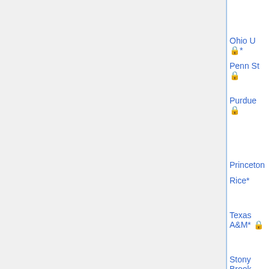| Institution | Type | Date | Contributors |
| --- | --- | --- | --- |
|  |  |  | Nitzan, Dustin Mixon |
| Ohio U 🔒* |  |  |  |
| Penn St 🔒 | TT | 11/15/2014 | Jack Huizenga, ... |
| Purdue 🔒 | TT | 11/1/2014 | Chi Li, Laura Schaposnik, Samy Tindel, Ben Williams, ... |
| Princeton | TT | 12/1/2014 |  |
| Rice* | TT | 11/28/2014 | Jack Huizenga, ... |
| Texas A&M* 🔒 | various (5)(t)(u) | 12/1/2014 | Dustin Mixon, Shahaf Nitzan |
| Stony Brook |  |  |  |